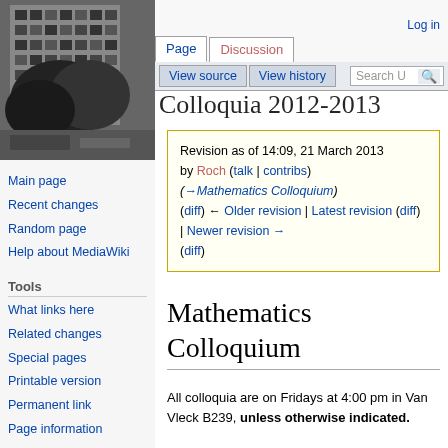[Figure (photo): Black and white photograph of a multi-storey modernist building with trees in the foreground]
Log in
Main page
Recent changes
Random page
Help about MediaWiki
Tools
What links here
Related changes
Special pages
Printable version
Permanent link
Page information
Cite this page
Colloquia 2012-2013
Revision as of 14:09, 21 March 2013 by Roch (talk | contribs) (→Mathematics Colloquium) (diff) ← Older revision | Latest revision (diff) | Newer revision → (diff)
Mathematics Colloquium
All colloquia are on Fridays at 4:00 pm in Van Vleck B239, unless otherwise indicated.